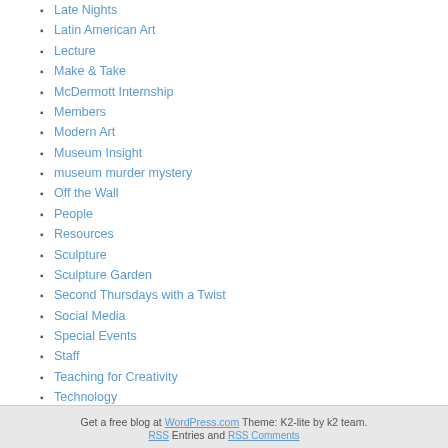Late Nights
Latin American Art
Lecture
Make & Take
McDermott Internship
Members
Modern Art
Museum Insight
museum murder mystery
Off the Wall
People
Resources
Sculpture
Sculpture Garden
Second Thursdays with a Twist
Social Media
Special Events
Staff
Teaching for Creativity
Technology
Teens
The Fashion World of Jean Paul Gaultier: From the Sidewalk to the Catwalk
Thursday Night Live
Uncategorized
works of art
Works on Paper
Meta
Log in
Entries feed
Comments feed
WordPress.org
Get a free blog at WordPress.com Theme: K2-lite by k2 team. RSS Entries and RSS Comments